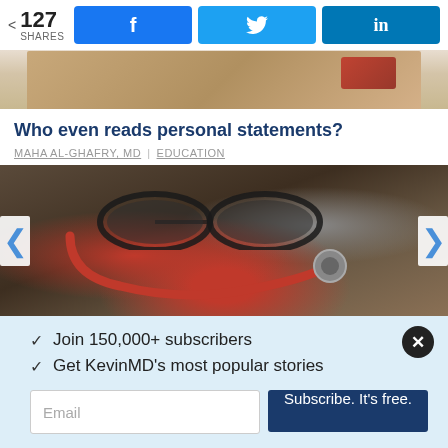127 SHARES | Facebook share | Twitter share | LinkedIn share
[Figure (photo): Partial top view of a wooden surface with books and red object, cropped article thumbnail]
Who even reads personal statements?
MAHA AL-GHAFRY, MD | EDUCATION
[Figure (photo): Medical items on a desk: red stethoscope, glasses, syringe, pen, notebook]
✓  Join 150,000+ subscribers
✓  Get KevinMD's most popular stories
Email  |  Subscribe. It's free.